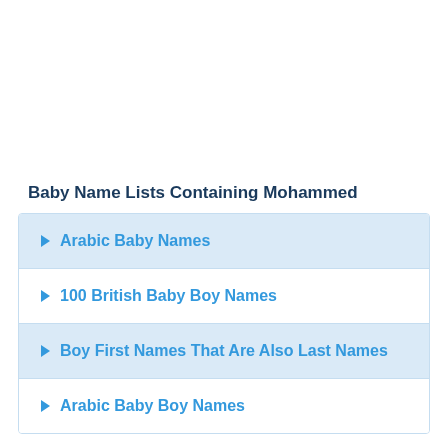Baby Name Lists Containing Mohammed
Arabic Baby Names
100 British Baby Boy Names
Boy First Names That Are Also Last Names
Arabic Baby Boy Names